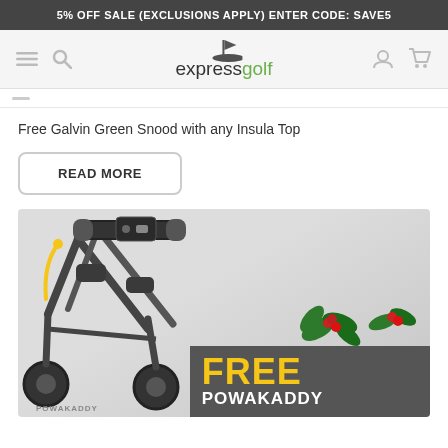5% OFF SALE (EXCLUSIONS APPLY) ENTER CODE: SAVE5
[Figure (logo): Express Golf logo with flag icon, 'express' in dark text and 'golf' in green]
Free Galvin Green Snood with any Insula Top
READ MORE
[Figure (photo): Close-up photo of a black and grey Powakaddy electric golf trolley with yellow text 'FREE' and white text 'POWAKADDY' on a dark grey background overlay in the bottom right, with holly decoration]